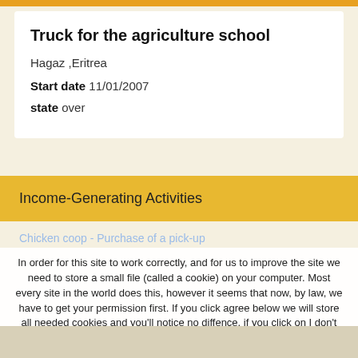Truck for the agriculture school
Hagaz ,Eritrea
Start date 11/01/2007
state over
Income-Generating Activities
In order for this site to work correctly, and for us to improve the site we need to store a small file (called a cookie) on your computer. Most every site in the world does this, however it seems that now, by law, we have to get your permission first. If you click agree below we will store all needed cookies and you'll notice no diffence, if you click on I don't agree (and while you don't click on I agree) we will not store cookies other than the strictly necessary ones. But in that case you will not be able to post comments, see and use social buttons, etc. Privacy policy
Accept
Reject